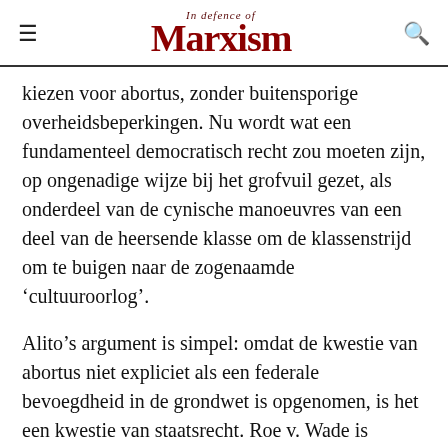In defence of Marxism
kiezen voor abortus, zonder buitensporige overheidsbeperkingen. Nu wordt wat een fundamenteel democratisch recht zou moeten zijn, op ongenadige wijze bij het grofvuil gezet, als onderdeel van de cynische manoeuvres van een deel van de heersende klasse om de klassenstrijd om te buigen naar de zogenaamde 'cultuuroorlog'.
Alito's argument is simpel: omdat de kwestie van abortus niet expliciet als een federale bevoegdheid in de grondwet is opgenomen, is het een kwestie van staatsrecht. Roe v. Wade is daarom 'flagrant', 'uitzonderlijk zwak' en bovenal ongrondwettelijk, ongeacht de persoonlijke opvattingen van de